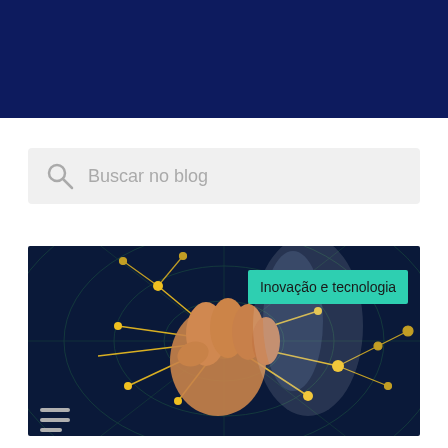Buscar no blog
[Figure (photo): A person's fist glowing with a golden network node, pressing or touching the center of a digital radar/network diagram overlaid on a dark blue background. A teal tag label reads 'Inovação e tecnologia'. Hamburger menu icon visible at bottom left.]